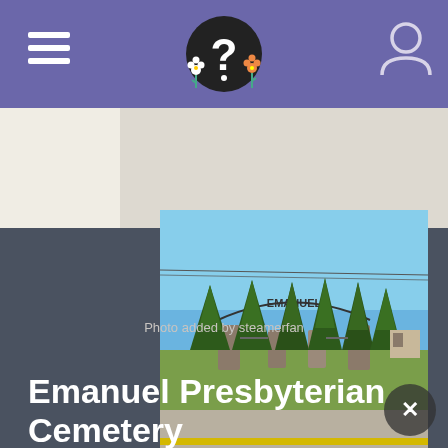Navigation bar with hamburger menu, logo, and user icon
[Figure (photo): Outdoor photo of Emanuel Presbyterian Cemetery entrance gate with tall evergreen trees and stone pillars, viewed from a road with a yellow line in the foreground]
Photo added by steamerfan
Emanuel Presbyterian Cemetery